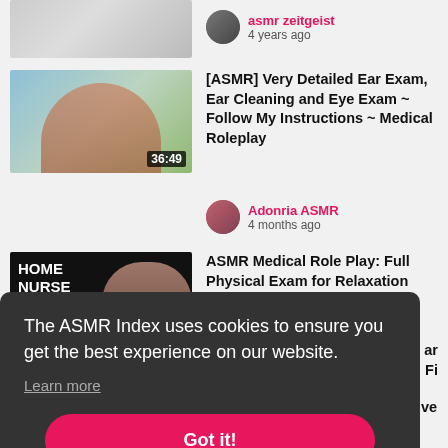[Figure (screenshot): Partial video thumbnail at top, cropped]
asmr zeitgeist
4 years ago
[Figure (screenshot): Video thumbnail: woman with glasses wearing blue gloves making peace signs, duration 36:49]
[ASMR] Very Detailed Ear Exam, Ear Cleaning and Eye Exam ~ Follow My Instructions ~ Medical Roleplay
Adonria ASMR
4 months ago
[Figure (screenshot): Video thumbnail: dark background with text HOME NURSE and woman's face]
ASMR Medical Role Play: Full Physical Exam for Relaxation and Sleep (Binaural)
ar
l Sci Fi
The ASMR Index uses cookies to ensure you get the best experience on our website.
Learn more
Got it!
[Figure (screenshot): Partial bottom video thumbnail]
Binaural ASMR Whisper Positive